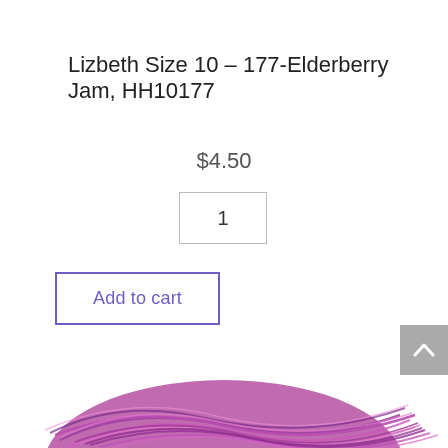Lizbeth Size 10 – 177-Elderberry Jam, HH10177
$4.50
1
Add to cart
[Figure (photo): A ball of variegated yarn in purple, pink, magenta, and white tones]